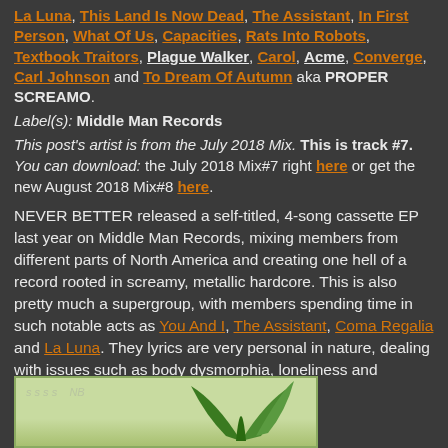La Luna, This Land Is Now Dead, The Assistant, In First Person, What Of Us, Capacities, Rats Into Robots, Textbook Traitors, Plague Walker, Carol, Acme, Converge, Carl Johnson and To Dream Of Autumn aka PROPER SCREAMO.
Label(s): Middle Man Records
This post's artist is from the July 2018 Mix. This is track #7. You can download: the July 2018 Mix#7 right here or get the new August 2018 Mix#8 here.
NEVER BETTER released a self-titled, 4-song cassette EP last year on Middle Man Records, mixing members from different parts of North America and creating one hell of a record rooted in screamy, metallic hardcore. This is also pretty much a supergroup, with members spending time in such notable acts as You And I, The Assistant, Coma Regalia and La Luna. They lyrics are very personal in nature, dealing with issues such as body dysmorphia, loneliness and dreaming.
[Figure (photo): Album artwork showing a light green background with stylized green leaf/plant graphic and faint purple/grey text]